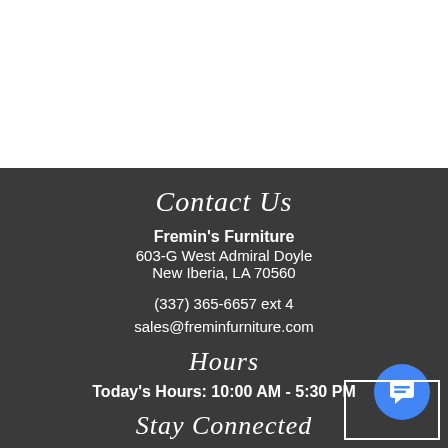Contact Us
Fremin's Furniture
603-G West Admiral Doyle
New Iberia, LA 70560
(337) 365-6657 ext 4
sales@freminfurniture.com
Hours
Today's Hours: 10:00 AM - 5:30 PM
Stay Connected